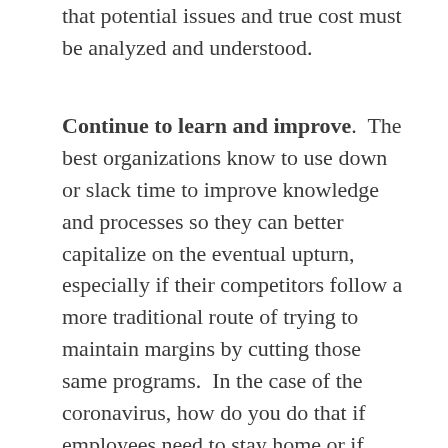that potential issues and true cost must be analyzed and understood.
Continue to learn and improve.  The best organizations know to use down or slack time to improve knowledge and processes so they can better capitalize on the eventual upturn, especially if their competitors follow a more traditional route of trying to maintain margins by cutting those same programs.  In the case of the coronavirus, how do you do that if employees need to stay home or if groups are not a good idea?  Online, on-demand continuous improvement training like Gemba Academy offers is obviously one solution.